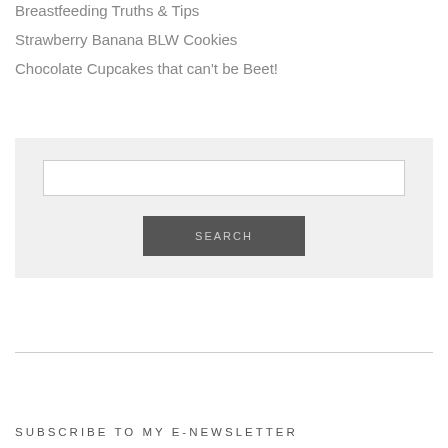Breastfeeding Truths & Tips
Strawberry Banana BLW Cookies
Chocolate Cupcakes that can't be Beet!
SEARCH
SUBSCRIBE TO MY E-NEWSLETTER